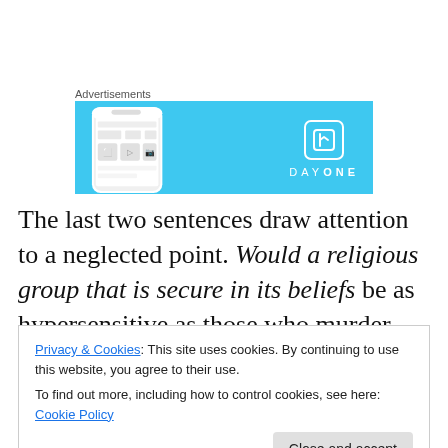Advertisements
[Figure (screenshot): DayOne app advertisement banner with light blue background showing a smartphone with the app interface and the DayOne logo and wordmark]
The last two sentences draw attention to a neglected point. Would a religious group that is secure in its beliefs be as hypersensitive as those who murder alleged
Privacy & Cookies: This site uses cookies. By continuing to use this website, you agree to their use.
To find out more, including how to control cookies, see here: Cookie Policy
Close and accept
raise. Our public discussion needs to acknowledge this